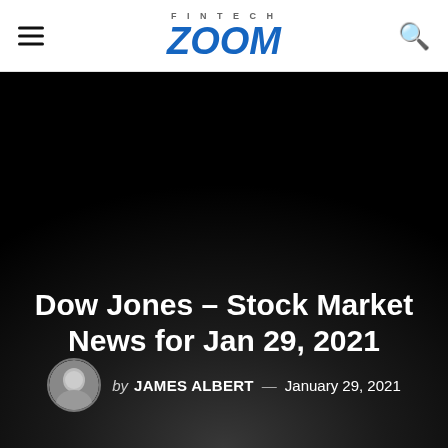FINTECH ZOOM
Dow Jones – Stock Market News for Jan 29, 2021
by JAMES ALBERT — January 29, 2021